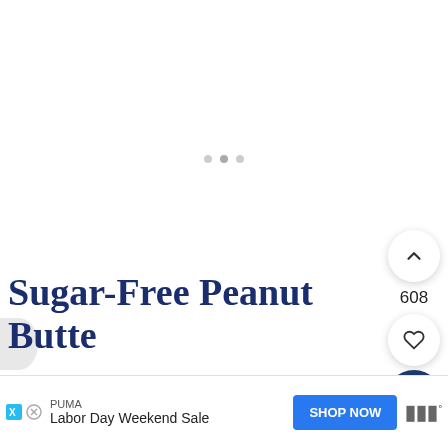[Figure (screenshot): Screenshot of a recipe website showing a white/blank main image area with three navigation dots, upvote and heart buttons on the right with count 608, a dark blue search button, and the beginning of a title 'Sugar-Free Peanut Butte' at the bottom, with a PUMA ad banner at the very bottom.]
Sugar-Free Peanut Butter
608
PUMA
Labor Day Weekend Sale
SHOP NOW